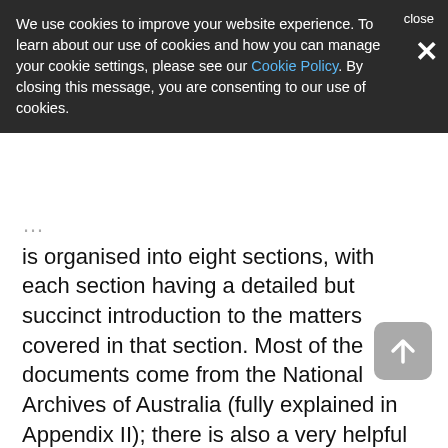We use cookies to improve your website experience. To learn about our use of cookies and how you can manage your cookie settings, please see our Cookie Policy. By closing this message, you are consenting to our use of cookies.
is organised into eight sections, with each section having a detailed but succinct introduction to the matters covered in that section. Most of the documents come from the National Archives of Australia (fully explained in Appendix II); there is also a very helpful guide to the range of people referred to in the documents (Appendix I). While there is no separate bibliography, there are many footnote references in the introductions to each section. There is no overall chronology but again the introductions are helpful in establishing a timeline. The two indexes, covering people and subjects, are very detailed.
On the issue of the evolution of the Empire, there is often a very strong (and justified) focus on the various Australian